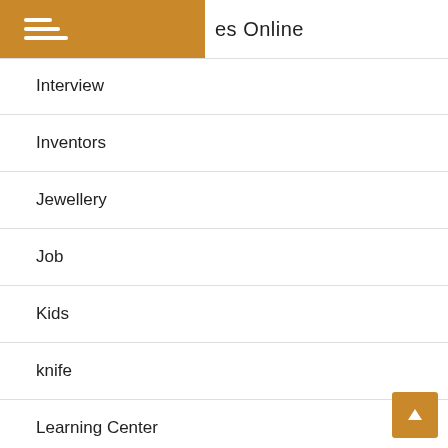es Online
Interview
Inventors
Jewellery
Job
Kids
knife
Learning Center
Legal